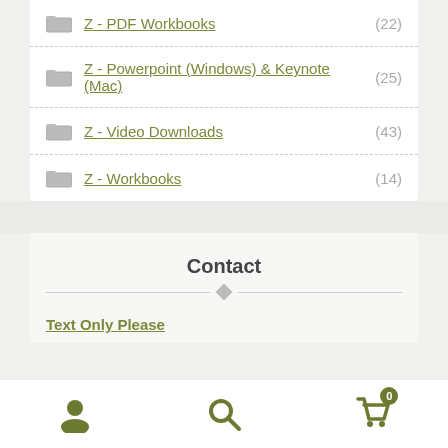Z - PDF Workbooks (22)
Z - Powerpoint (Windows) & Keynote (Mac) (25)
Z - Video Downloads (43)
Z - Workbooks (14)
Contact
Text Only Please